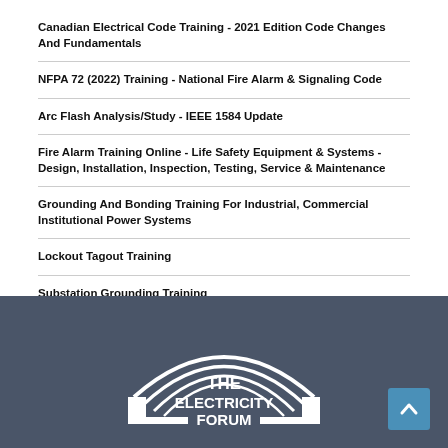Canadian Electrical Code Training - 2021 Edition Code Changes And Fundamentals
NFPA 72 (2022) Training - National Fire Alarm & Signaling Code
Arc Flash Analysis/Study - IEEE 1584 Update
Fire Alarm Training Online - Life Safety Equipment & Systems - Design, Installation, Inspection, Testing, Service & Maintenance
Grounding And Bonding Training For Industrial, Commercial Institutional Power Systems
Lockout Tagout Training
Substation Grounding Training
[Figure (logo): The Electricity Forum logo — white arch/rainbow design with text 'THE ELECTRICITY FORUM' on dark grey background]